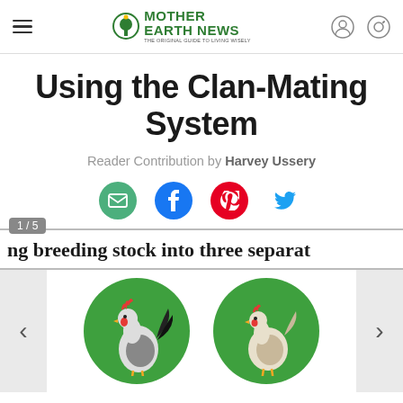Mother Earth News — THE ORIGINAL GUIDE TO LIVING WISELY
Using the Clan-Mating System
Reader Contribution by Harvey Ussery
[Figure (infographic): Social sharing icons: email (green), Facebook (blue), Pinterest (red), Twitter (blue)]
1 / 5
ng breeding stock into three separat
[Figure (illustration): Two circular green-background illustrations of chickens — a rooster on the left and a hen on the right — part of a 1/5 slideshow about separating breeding stock into three separate groups.]